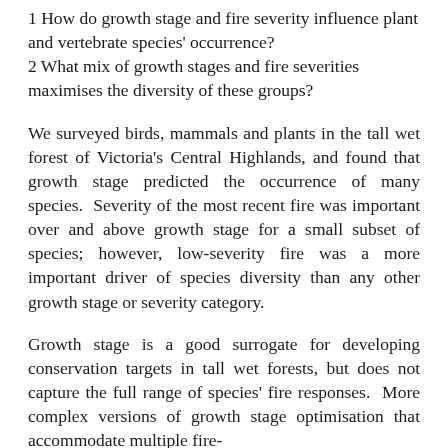1 How do growth stage and fire severity influence plant and vertebrate species' occurrence?
2 What mix of growth stages and fire severities maximises the diversity of these groups?
We surveyed birds, mammals and plants in the tall wet forest of Victoria's Central Highlands, and found that growth stage predicted the occurrence of many species.  Severity of the most recent fire was important over and above growth stage for a small subset of species; however, low-severity fire was a more important driver of species diversity than any other growth stage or severity category.
Growth stage is a good surrogate for developing conservation targets in tall wet forests, but does not capture the full range of species' fire responses.  More complex versions of growth stage optimisation that accommodate multiple fire-